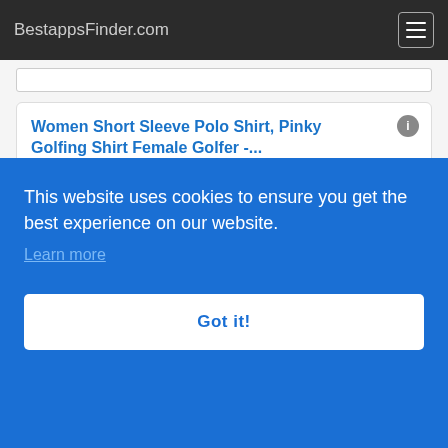BestappsFinder.com
Women Short Sleeve Polo Shirt, Pinky Golfing Shirt Female Golfer -...
Ad https://www.homesizy.com/
Looking For Personalized Polo Shirts 3D With a Message. Our Shirts Make Perfect Gifts
Visit Site
...
nbia
Labor Day: Up to 40% off 100+ Styles. Girls UPF 50+ Swimwear. Our Story.
This website uses cookies to ensure you get the best experience on our website. Learn more
Got it!